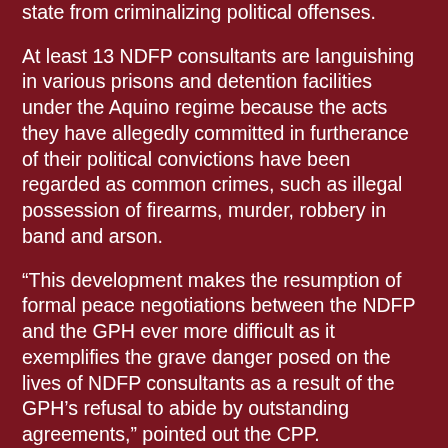state from criminalizing political offenses.
At least 13 NDFP consultants are languishing in various prisons and detention facilities under the Aquino regime because the acts they have allegedly committed in furtherance of their political convictions have been regarded as common crimes, such as illegal possession of firearms, murder, robbery in band and arson.
“This development makes the resumption of formal peace negotiations between the NDFP and the GPH ever more difficult as it exemplifies the grave danger posed on the lives of NDFP consultants as a result of the GPH’s refusal to abide by outstanding agreements,” pointed out the CPP.
“The CPP demands that the GPH rescind the conviction and sentencing of NDFP Consultant Eduardo Sarmiento. It calls on the human rights community, peace advocates both in the Philippines and abroad to stand together to defend the lives of all NDFP peace consultants and amplify the demand for their release.”